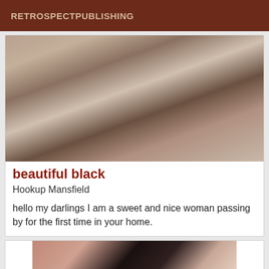RETROSPECTPUBLISHING
[Figure (photo): Photo of a woman wearing a leopard print and black lace outfit, standing near metal railings]
beautiful black
Hookup Mansfield
hello my darlings I am a sweet and nice woman passing by for the first time in your home.
[Figure (photo): Close-up photo of a woman with dark hair and pink lipstick wearing a dark top]